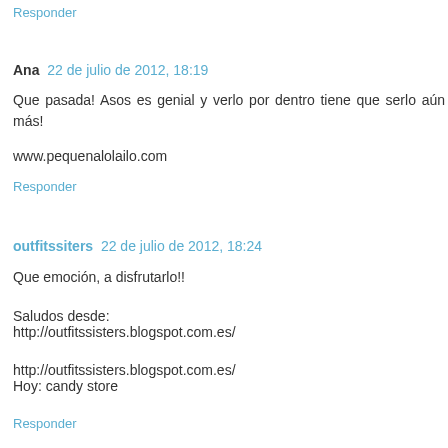Responder
Ana  22 de julio de 2012, 18:19
Que pasada! Asos es genial y verlo por dentro tiene que serlo aún más!
www.pequenalolailo.com
Responder
outfitssiters  22 de julio de 2012, 18:24
Que emoción, a disfrutarlo!!
Saludos desde:
http://outfitssisters.blogspot.com.es/
http://outfitssisters.blogspot.com.es/
Hoy: candy store
Responder